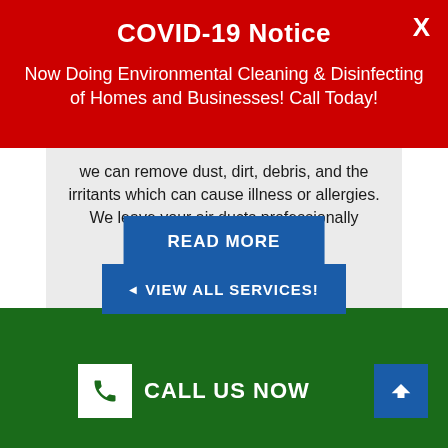COVID-19 Notice
Now Doing Environmental Cleaning & Disinfecting of Homes and Businesses! Call Today!
we can remove dust, dirt, debris, and the irritants which can cause illness or allergies. We leave your air ducts professionally clean, fresh, and healthy.
READ MORE
VIEW ALL SERVICES!
CALL US NOW